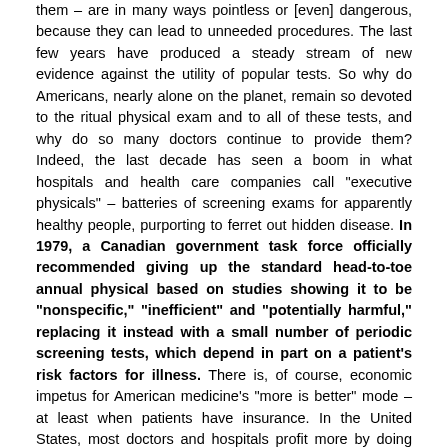them – are in many ways pointless or [even] dangerous, because they can lead to unneeded procedures. The last few years have produced a steady stream of new evidence against the utility of popular tests. So why do Americans, nearly alone on the planet, remain so devoted to the ritual physical exam and to all of these tests, and why do so many doctors continue to provide them? Indeed, the last decade has seen a boom in what hospitals and health care companies call "executive physicals" – batteries of screening exams for apparently healthy people, purporting to ferret out hidden disease. In 1979, a Canadian government task force officially recommended giving up the standard head-to-toe annual physical based on studies showing it to be "nonspecific," "inefficient" and "potentially harmful," replacing it instead with a small number of periodic screening tests, which depend in part on a patient's risk factors for illness. There is, of course, economic impetus for American medicine's "more is better" mode – at least when patients have insurance. In the United States, most doctors and hospitals profit more by doing more, and prices are particularly high for tests and scans. Also, we are one of the few countries where drug makers and hospitals advertise products and treatments directly to patients, creating demand from consumers who don't actually pay their full costs.
Note: For key reports from reliable sources on important health issues, click here.